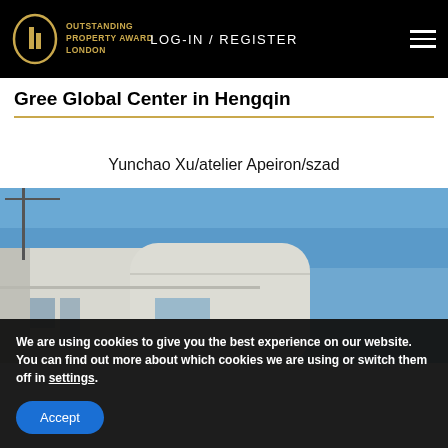OUTSTANDING PROPERTY AWARD LONDON | LOG-IN / REGISTER
Gree Global Center in Hengqin
Yunchao Xu/atelier Apeiron/szad
[Figure (photo): Photograph of a modern concrete building with curved edges against a blue sky, with a tower crane visible in the background]
We are using cookies to give you the best experience on our website.
You can find out more about which cookies we are using or switch them off in settings.
Accept